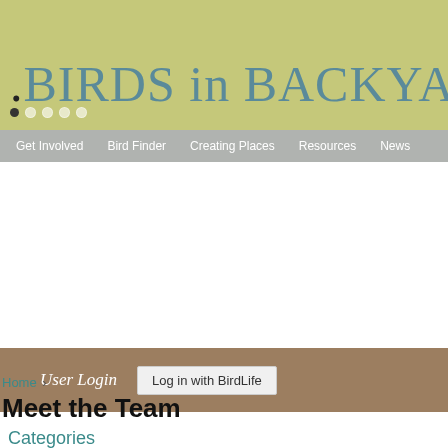.BIRDS in BACKYARDS
Get Involved   Bird Finder   Creating Places   Resources   News
User Login   Log in with BirdLife
Home ›
Meet the Team
Categories